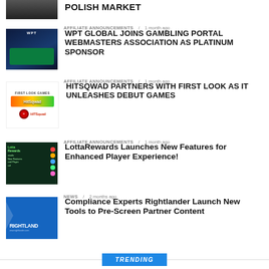[Figure (photo): Partial top of first news item thumbnail - dark room image]
Polish Market
AFFILIATE ANNOUNCEMENTS / 1 month ago
[Figure (photo): WPT poker table with blue lighting]
WPT GLOBAL JOINS GAMBLING PORTAL WEBMASTERS ASSOCIATION AS PLATINUM SPONSOR
AFFILIATE ANNOUNCEMENTS / 1 month ago
[Figure (logo): HitSqwad colorful logo with casino games and HitSquad red circle logo]
HITSQWAD PARTNERS WITH FIRST LOOK AS IT UNLEASHES DEBUT GAMES
AFFILIATE ANNOUNCEMENTS / 1 month ago
[Figure (photo): LottaRewards dark green promotional image with colorful dots]
LottaRewards Launches New Features for Enhanced Player Experience!
NEWS / 2 months ago
[Figure (logo): Rightlander blue background with white logo and arrow]
Compliance Experts Rightlander Launch New Tools to Pre-Screen Partner Content
TRENDING